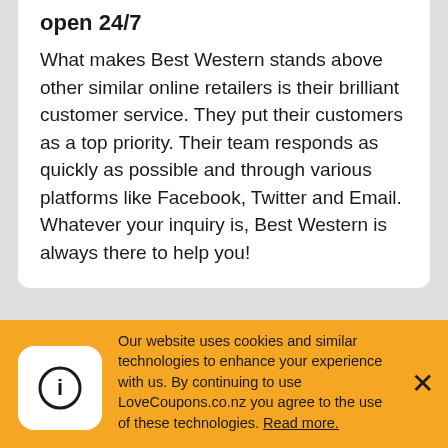open 24/7
What makes Best Western stands above other similar online retailers is their brilliant customer service. They put their customers as a top priority. Their team responds as quickly as possible and through various platforms like Facebook, Twitter and Email. Whatever your inquiry is, Best Western is always there to help you!
Thank you for visiting LoveCoupons.co.nz
Thank you for visiting LoveCoupons.co.nz on
Our website uses cookies and similar technologies to enhance your experience with us. By continuing to use LoveCoupons.co.nz you agree to the use of these technologies. Read more.